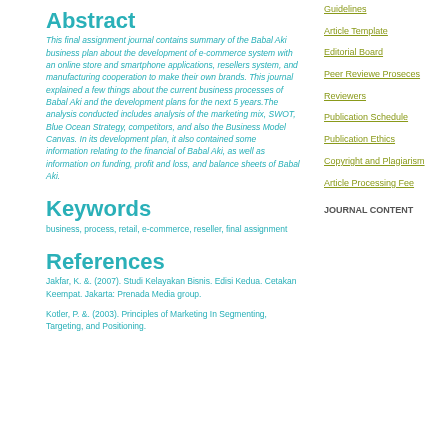Abstract
This final assignment journal contains summary of the Babal Aki business plan about the development of e-commerce system with an online store and smartphone applications, resellers system, and manufacturing cooperation to make their own brands. This journal explained a few things about the current business processes of Babal Aki and the development plans for the next 5 years.The analysis conducted includes analysis of the marketing mix, SWOT, Blue Ocean Strategy, competitors, and also the Business Model Canvas. In its development plan, it also contained some information relating to the financial of Babal Aki, as well as information on funding, profit and loss, and balance sheets of Babal Aki.
Keywords
business, process, retail, e-commerce, reseller, final assignment
References
Jakfar, K. &. (2007). Studi Kelayakan Bisnis. Edisi Kedua. Cetakan Keempat. Jakarta: Prenada Media group.
Kotler, P. &. (2003). Principles of Marketing In Segmenting, Targeting, and Positioning.
Guidelines
Article Template
Editorial Board
Peer Reviewe Proseces
Reviewers
Publication Schedule
Publication Ethics
Copyright and Plagiarism
Article Processing Fee
JOURNAL CONTENT